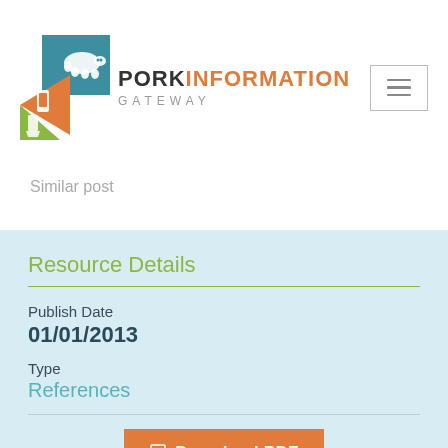[Figure (logo): Pork Information Gateway logo with triangular pig icon in teal, orange, and green colors, and text 'PORK INFORMATION GATEWAY']
Similar post
Resource Details
Publish Date
01/01/2013
Type
References
Download PDF